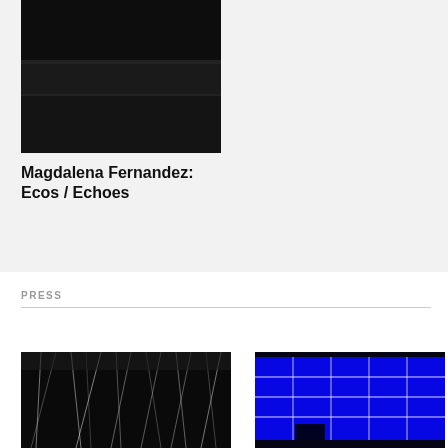[Figure (photo): A dark black book or catalog cover with a horizontal line/band across it, photographed against a light background.]
Magdalena Fernandez: Ecos / Echoes
PRESS
[Figure (photo): A dark artistic installation photo showing thin white lines or strings against a black background, resembling hanging threads or a kinetic sculpture.]
[Figure (photo): A dark photo showing a bright blue illuminated wall or surface with white lines/grid pattern against a black background — an art installation.]